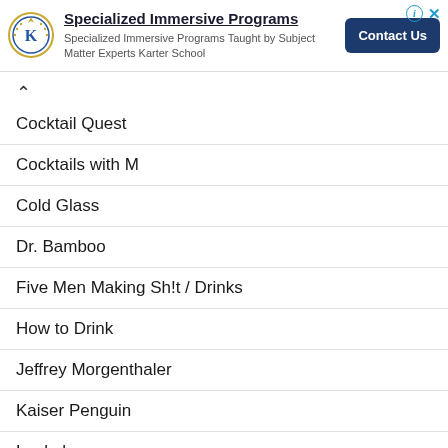[Figure (other): Advertisement banner for Karter School with logo, bold title 'Specialized Immersive Programs', subtitle text, and a 'Contact Us' button]
Cocktail Quest
Cocktails with M
Cold Glass
Dr. Bamboo
Five Men Making Sh!t / Drinks
How to Drink
Jeffrey Morgenthaler
Kaiser Penguin
Lookal